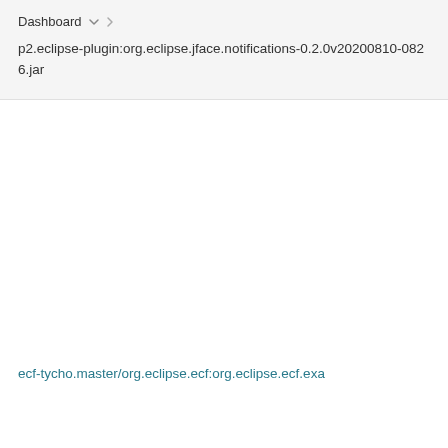Dashboard
p2.eclipse-plugin:org.eclipse.jface.notifications-0.2.0v20200810-0826.jar
ecf-tycho.master/org.eclipse.ecf:org.eclipse.ecf.exa